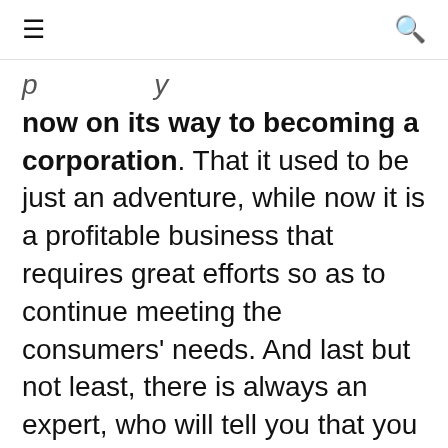≡   🔍
now on its way to becoming a corporation. That it used to be just an adventure, while now it is a profitable business that requires great efforts so as to continue meeting the consumers' needs. And last but not least, there is always an expert, who will tell you that you have achieved much but definitely this is not the website's full potential but only about 30% of it. This is more than enough but why should you content yourself with 30% when you can get 50% or 60%, or why not 90%?